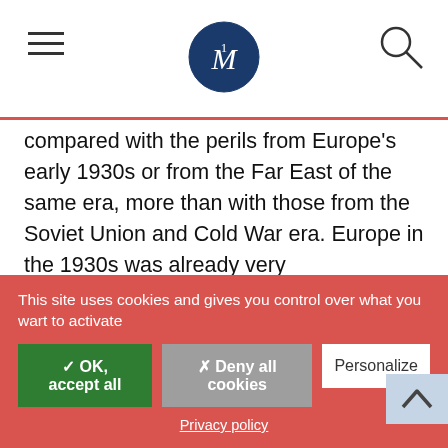M logo, navigation header
compared with the perils from Europe's early 1930s or from the Far East of the same era, more than with those from the Soviet Union and Cold War era. Europe in the 1930s was already very interdependent in economic terms, while the Great Depression divided democracies inside and among themselves. In the Far East, Imperial Japan's extreme nationalism coincided with a fear of sanctions or blockades that could limit its access to global resources. This created Japan's own preference for a security-driven self-sufficiency and
This site uses cookies and gives you control over what you want to activate
✓ OK, accept all
✗ Deny all cookies
Personalize
Privacy policy